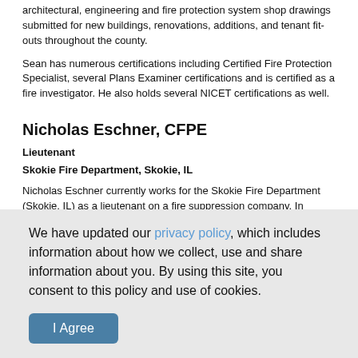architectural, engineering and fire protection system shop drawings submitted for new buildings, renovations, additions, and tenant fit-outs throughout the county.
Sean has numerous certifications including Certified Fire Protection Specialist, several Plans Examiner certifications and is certified as a fire investigator. He also holds several NICET certifications as well.
Nicholas Eschner, CFPE
Lieutenant
Skokie Fire Department, Skokie, IL
Nicholas Eschner currently works for the Skokie Fire Department (Skokie, IL) as a lieutenant on a fire suppression company. In addition, Mr. Eschner owns and operates Advanced Fire Protection & Safety, Inc. and Plan Review Services. Mr. Eschner has an extensive amount of fire protection experience and fire suppression experience. His fire protection experience ranges from
We have updated our privacy policy, which includes information about how we collect, use and share information about you. By using this site, you consent to this policy and use of cookies.
I Agree